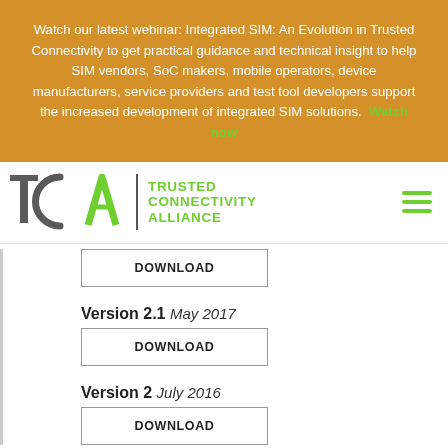Watch our latest webinar: Integrated SIM: An Evolution in Trusted Connectivity to get practical guidance and technical insight to help SIM vendors, SoC makers, mobile operators, device manufacturers, service providers and test tool developers support the increased development of integrated SIM solutions. Watch now
[Figure (logo): Trusted Connectivity Alliance (TCA) logo with green TCA lettermark and text 'TRUSTED CONNECTIVITY ALLIANCE']
DOWNLOAD
Version 2.1 May 2017
DOWNLOAD
Version 2 July 2016
DOWNLOAD